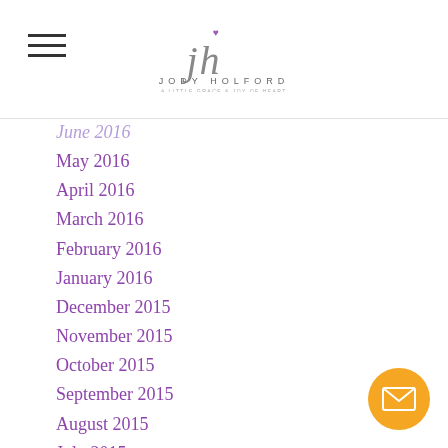Jody Holford
June 2016
May 2016
April 2016
March 2016
February 2016
January 2016
December 2015
November 2015
October 2015
September 2015
August 2015
July 2015
June 2015
May 2015
April 2015
March 2015
January 2015
December 2014